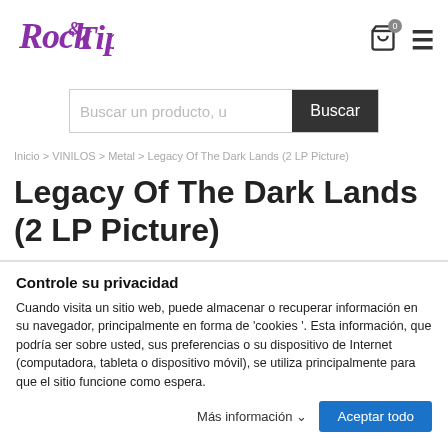[Figure (logo): Rock & Tips purple cursive logo]
Buscar un producto, u
Buscar
Inicio > VINILOS > Metal > Legacy Of The Dark Lands (2 LP Picture)
Legacy Of The Dark Lands (2 LP Picture)
Controle su privacidad
Cuando visita un sitio web, puede almacenar o recuperar información en su navegador, principalmente en forma de 'cookies '. Esta información, que podría ser sobre usted, sus preferencias o su dispositivo de Internet (computadora, tableta o dispositivo móvil), se utiliza principalmente para que el sitio funcione como espera.
Más información
Aceptar todo